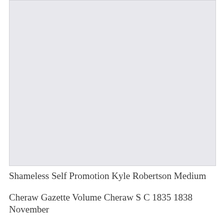[Figure (photo): A large light gray rectangular image area, mostly blank/empty with a very subtle light gray background.]
Shameless Self Promotion Kyle Robertson Medium
Cheraw Gazette Volume Cheraw S C 1835 1838 November